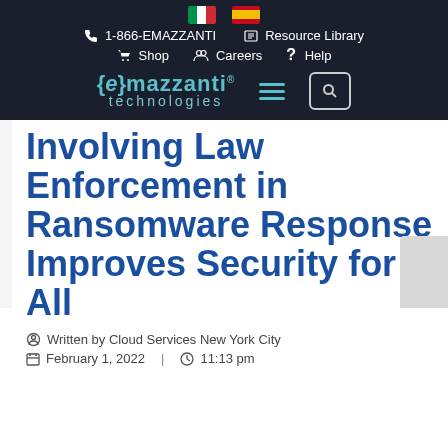[Figure (screenshot): eMazzanti Technologies website navigation bar with Italian and Spanish flag icons, phone number 1-866-EMAZZANTI, Resource Library, Shop, Careers, Help links, eMazzanti technologies logo, hamburger menu and search button]
Involving Law Enforcement in Ransomware Response Improves Security for All
Written by Cloud Services New York City
February 1, 2022   11:13 pm